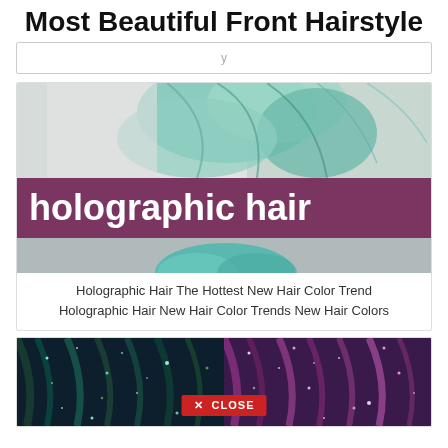Most Beautiful Front Hairstyle
[Figure (other): Search bar / input box with partial text visible]
[Figure (photo): Holographic hair color photo showing teal/mint hair on top, a purple banner with white bold text 'holographic hair', and teal hair on bottom]
Holographic Hair The Hottest New Hair Color Trend Holographic Hair New Hair Color Trends New Hair Colors
[Figure (photo): Two glitter hair photos side by side: dark teal/navy glitter hair on the left, purple/pink glitter hair on the right. A red CLOSE button overlay at the bottom center.]